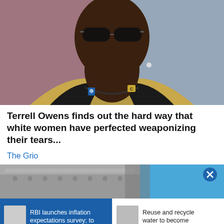[Figure (photo): Close-up photo of Terrell Owens wearing sunglasses and a gold/tan blazer with a small pin, black shirt and chain necklace, blurred background]
Terrell Owens finds out the hard way that white women have perfected weaponizing their tears...
The Grio
[Figure (photo): Partial photo of a building exterior (appears to be a stadium or public building) with blue sky background, with a close X button overlay]
RBI launches inflation expectations survey; to
Reuse and recycle water to become
HOME   MARKETS   NEWS   PORTFOLIO